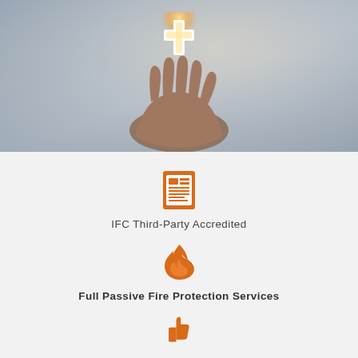[Figure (photo): Person in a dark suit holding out a hand with a glowing orange cross/plus symbol above the palm, blurred background]
[Figure (illustration): Orange document/newspaper icon representing IFC Third-Party Accredited]
IFC Third-Party Accredited
[Figure (illustration): Orange flame icon representing Full Passive Fire Protection Services]
Full Passive Fire Protection Services
[Figure (illustration): Orange thumbs-up icon at bottom of page]